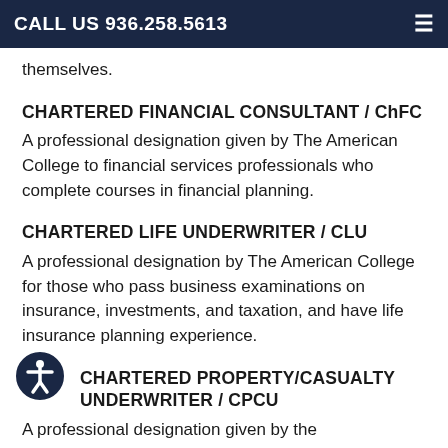CALL US 936.258.5613
themselves.
CHARTERED FINANCIAL CONSULTANT / ChFC
A professional designation given by The American College to financial services professionals who complete courses in financial planning.
CHARTERED LIFE UNDERWRITER / CLU
A professional designation by The American College for those who pass business examinations on insurance, investments, and taxation, and have life insurance planning experience.
CHARTERED PROPERTY/CASUALTY UNDERWRITER / CPCU
A professional designation given by the